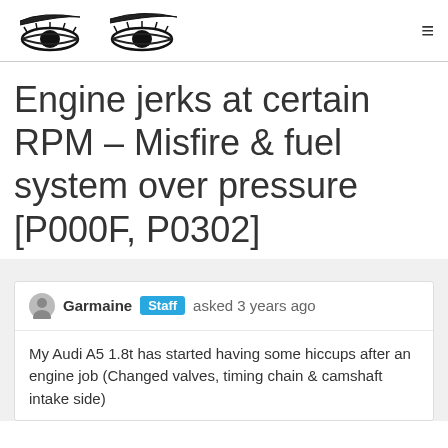Engine jerks at certain RPM – Misfire & fuel system over pressure [P000F, P0302]
Engine jerks at certain RPM – Misfire & fuel system over pressure [P000F, P0302]
Garmaine Staff asked 3 years ago
My Audi A5 1.8t has started having some hiccups after an engine job (Changed valves, timing chain & camshaft intake side)